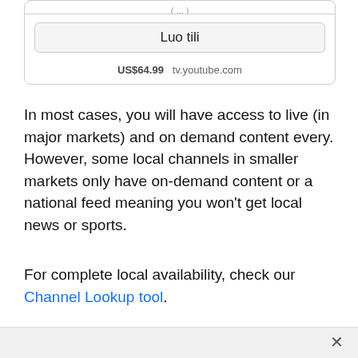[Figure (screenshot): A UI box with a button labeled 'Luo tili' and a price line showing US$64.99 tv.youtube.com]
In most cases, you will have access to live (in major markets) and on demand content every. However, some local channels in smaller markets only have on-demand content or a national feed meaning you won't get local news or sports.
For complete local availability, check our Channel Lookup tool.
Local Channel Restrictions
You can only access live local channels while you are in a market that YouTube TV is available.